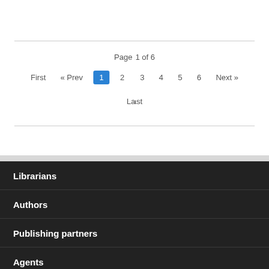Page 1 of 6
First « Prev 1 2 3 4 5 6 Next » Last
Librarians
Authors
Publishing partners
Agents